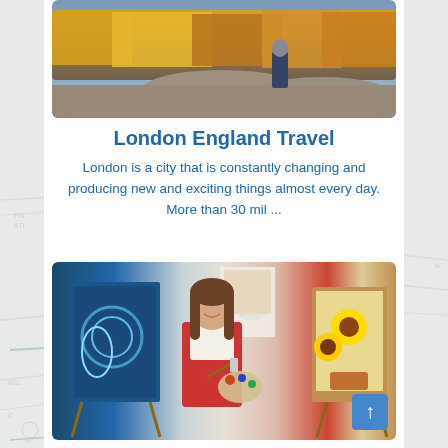[Figure (photo): Autumn forest landscape with orange and yellow trees, rocks in foreground, person standing on rocks in background]
London England Travel
London is a city that is constantly changing and producing new and exciting things almost every day. More than 30 mil ...
[Figure (photo): Young woman smiling in an art studio, wearing a red apron, holding a paint palette and brush, surrounded by colorful paintings on easels]